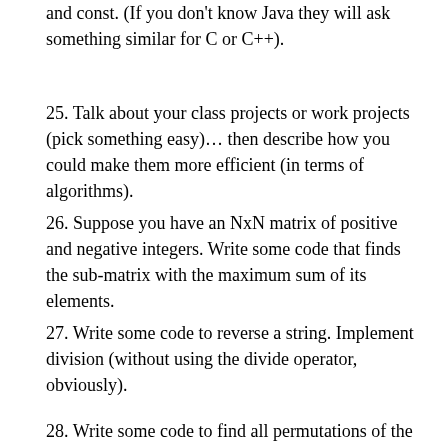and const. (If you don't know Java they will ask something similar for C or C++).
25. Talk about your class projects or work projects (pick something easy)… then describe how you could make them more efficient (in terms of algorithms).
26. Suppose you have an NxN matrix of positive and negative integers. Write some code that finds the sub-matrix with the maximum sum of its elements.
27. Write some code to reverse a string. Implement division (without using the divide operator, obviously).
28. Write some code to find all permutations of the